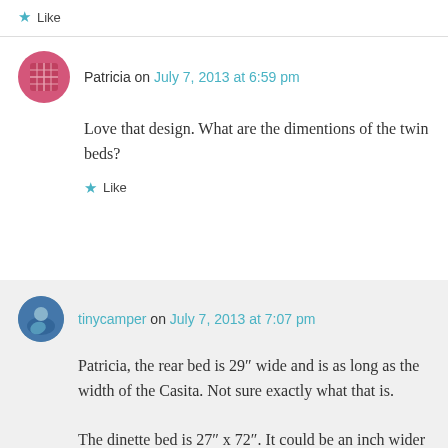★ Like
Patricia on July 7, 2013 at 6:59 pm
Love that design. What are the dimentions of the twin beds?
★ Like
tinycamper on July 7, 2013 at 7:07 pm
Patricia, the rear bed is 29″ wide and is as long as the width of the Casita. Not sure exactly what that is.
The dinette bed is 27″ x 72″. It could be an inch wider and still allow the bathroom door